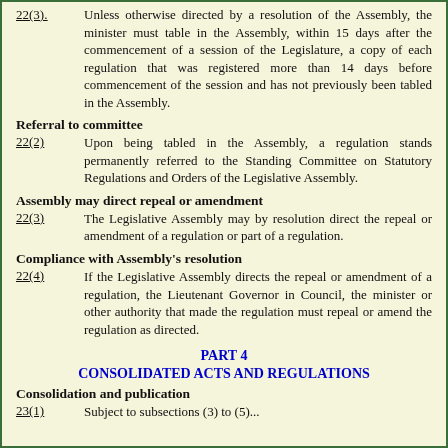22(3). Unless otherwise directed by a resolution of the Assembly, the minister must table in the Assembly, within 15 days after the commencement of a session of the Legislature, a copy of each regulation that was registered more than 14 days before commencement of the session and has not previously been tabled in the Assembly.
Referral to committee
22(2)    Upon being tabled in the Assembly, a regulation stands permanently referred to the Standing Committee on Statutory Regulations and Orders of the Legislative Assembly.
Assembly may direct repeal or amendment
22(3)    The Legislative Assembly may by resolution direct the repeal or amendment of a regulation or part of a regulation.
Compliance with Assembly's resolution
22(4)    If the Legislative Assembly directs the repeal or amendment of a regulation, the Lieutenant Governor in Council, the minister or other authority that made the regulation must repeal or amend the regulation as directed.
PART 4
CONSOLIDATED ACTS AND REGULATIONS
Consolidation and publication
23(1)    Subject to subsections (3) to (5)...